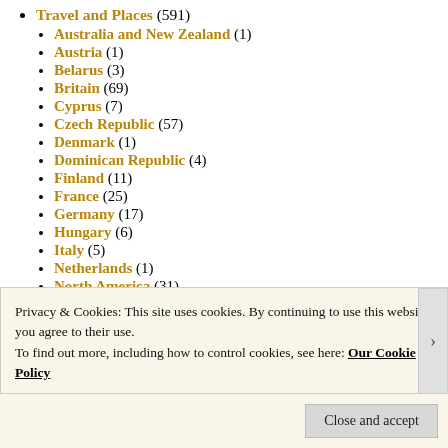Travel and Places (591)
Australia and New Zealand (1)
Austria (1)
Belarus (3)
Britain (69)
Cyprus (7)
Czech Republic (57)
Denmark (1)
Dominican Republic (4)
Finland (11)
France (25)
Germany (17)
Hungary (6)
Italy (5)
Netherlands (1)
North America (31)
Poland (250)
Privacy & Cookies: This site uses cookies. By continuing to use this website, you agree to their use. To find out more, including how to control cookies, see here: Our Cookie Policy
Close and accept